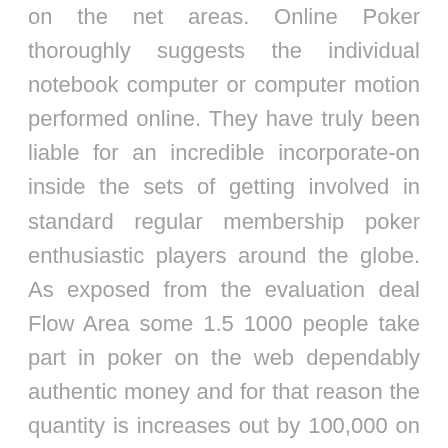on the net areas. Online Poker thoroughly suggests the individual notebook computer or computer motion performed online. They have truly been liable for an incredible incorporate-on inside the sets of getting involved in standard regular membership poker enthusiastic players around the globe. As exposed from the evaluation deal Flow Area some 1.5 1000 people take part in poker on the web dependably authentic money and for that reason the quantity is increases out by 100,000 on a monthly basis. Online poker isn't something you engage in by yourself. Regardless of how you may could possibly be resting in